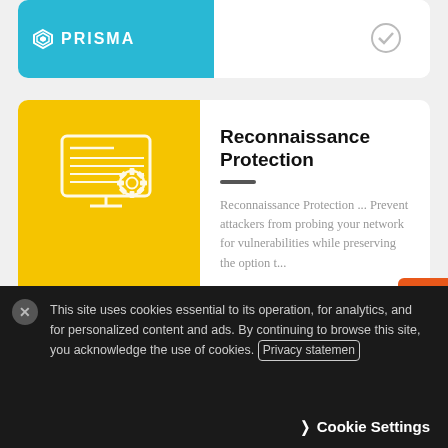[Figure (screenshot): Prisma product card (partial, top) with cyan/teal left panel showing PRISMA logo and white right panel with checkmark]
[Figure (screenshot): Strata card with yellow left panel showing screen/gear icon and STRATA logo, right panel with title 'Reconnaissance Protection' and description text]
Reconnaissance Protection
Reconnaissance Protection ... Prevent attackers from probing your network for vulnerabilities while preserving the option t...
[Figure (screenshot): Cortex card with green left panel showing screen/gear icon and CORTEX logo, right panel with title 'Analytics Alerts by Required Data Source' and description text]
Analytics Alerts by Required Data Source
A user cleared their browser's history ... A user created an abnormal password-protected archive ... Attempt to execute a...
This site uses cookies essential to its operation, for analytics, and for personalized content and ads. By continuing to browse this site, you acknowledge the use of cookies. Privacy statemen
Cookie Settings